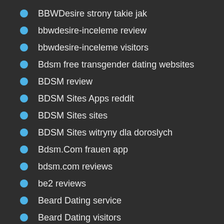BBWDesire strony takie jak
bbwdesire-inceleme review
bbwdesire-inceleme visitors
Bdsm free transgender dating websites
BDSM review
BDSM Sites Apps reddit
BDSM Sites sites
BDSM Sites witryny dla doroslych
Bdsm.Com frauen app
bdsm.com reviews
be2 reviews
Beard Dating service
Beard Dating visitors
Beard free transgender dating websites